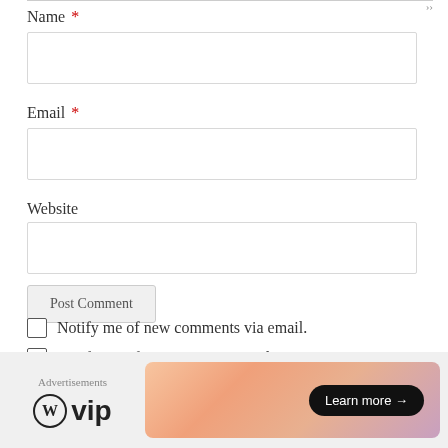Name *
Email *
Website
Post Comment
Notify me of new comments via email.
Notify me of new posts via email.
Advertisements
[Figure (logo): WordPress VIP logo with circular WP icon and 'vip' text, followed by a colorful banner ad with 'Learn more →' button]